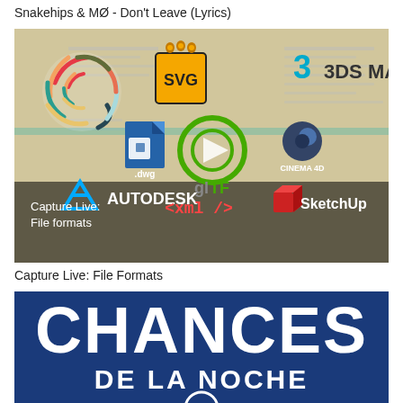Snakehips & MØ - Don't Leave (Lyrics)
[Figure (screenshot): Thumbnail image showing software file format logos: SVG, 3DS MAX, .dwg (Autodesk), glTF, Cinema 4D, xml, SketchUp, with Autodesk logo and text 'Capture Live: File formats']
Capture Live: File Formats
[Figure (screenshot): Thumbnail image with blue background showing large white bold text 'CHANCES DE LA NOCHE']